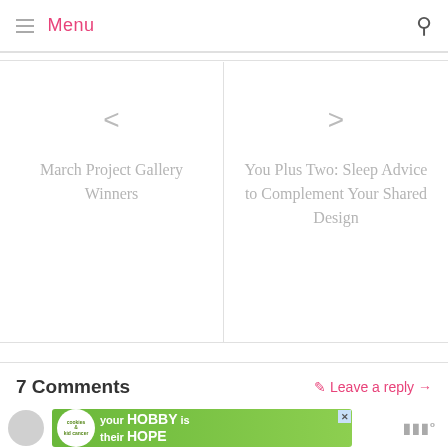Menu
< March Project Gallery Winners
> You Plus Two: Sleep Advice to Complement Your Shared Design
7 Comments
Leave a reply →
[Figure (infographic): Advertisement banner: cookies & kid cancer — your HOBBY is their HOPE]